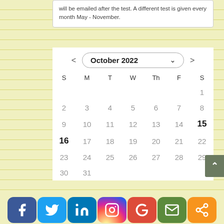will be emailed after the test. A different test is given every month May - November.
[Figure (other): October 2022 calendar widget with navigation arrows, showing dates 1-31. Dates 15 and 16 are bolded/highlighted.]
[Figure (infographic): Social media icon bar with Facebook, Twitter, LinkedIn, Instagram, Google, Email, and Share buttons]